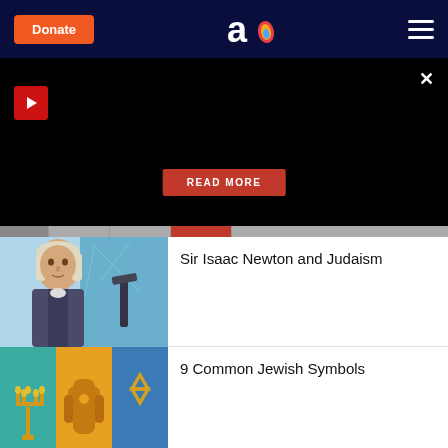Donate | Aish logo | Menu
[Figure (screenshot): Black promotional panel with play button, close X button, and READ MORE button]
[Figure (photo): Portrait of Sir Isaac Newton with telescope and star charts in background]
Sir Isaac Newton and Judaism
[Figure (illustration): Three Jewish symbols: Menorah, Hamsa hand, and Star of David on teal, orange, and blue backgrounds]
9 Common Jewish Symbols